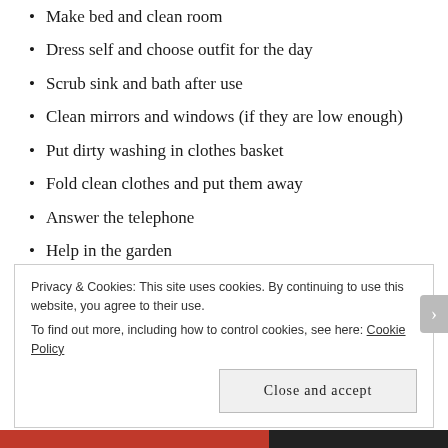Make bed and clean room
Dress self and choose outfit for the day
Scrub sink and bath after use
Clean mirrors and windows (if they are low enough)
Put dirty washing in clothes basket
Fold clean clothes and put them away
Answer the telephone
Help in the garden
Pay for small purchases
Help clean the car
Help take out the rubbish
Feed own pet and clean pet's living area.
Privacy & Cookies: This site uses cookies. By continuing to use this website, you agree to their use.
To find out more, including how to control cookies, see here: Cookie Policy
Close and accept